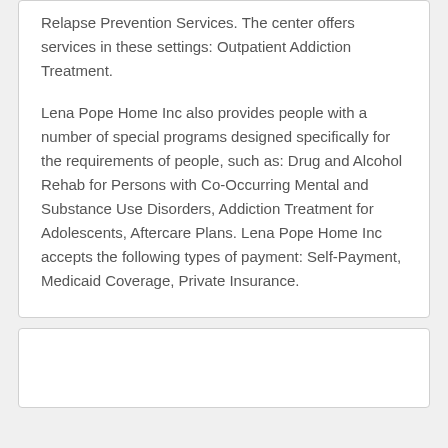Relapse Prevention Services. The center offers services in these settings: Outpatient Addiction Treatment.
Lena Pope Home Inc also provides people with a number of special programs designed specifically for the requirements of people, such as: Drug and Alcohol Rehab for Persons with Co-Occurring Mental and Substance Use Disorders, Addiction Treatment for Adolescents, Aftercare Plans. Lena Pope Home Inc accepts the following types of payment: Self-Payment, Medicaid Coverage, Private Insurance.